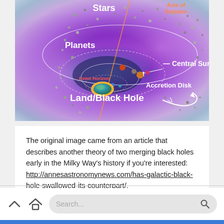[Figure (illustration): Astronomical diagram of a galactic structure showing labeled components: Stars (white text, top center), Axis of Rotation (orange text, top right), Planets (white text, left), Central Sun (white text, right center with arrow), Event Horizon (red text, lower left), Accretion Disk (white text, lower right), Land/Black Hole (white text, bottom left). The background is a purple-blue nebula with scattered grey star dots, white elliptical orbital rings, and a colorful central body.]
The original image came from an article that describes another theory of two merging black holes early in the Milky Way's history if you're interested: http://annesastronomynews.com/has-galactic-black-hole-swallowed-its-counterpart/.